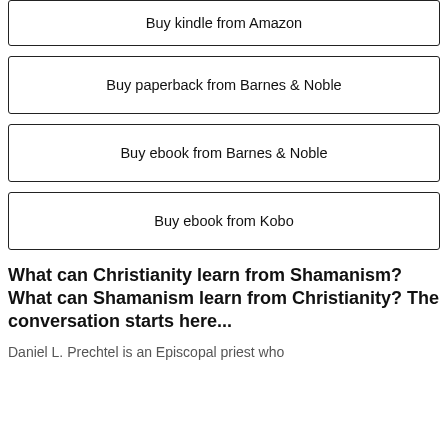Buy kindle from Amazon
Buy paperback from Barnes & Noble
Buy ebook from Barnes & Noble
Buy ebook from Kobo
What can Christianity learn from Shamanism? What can Shamanism learn from Christianity? The conversation starts here...
Daniel L. Prechtel is an Episcopal priest who